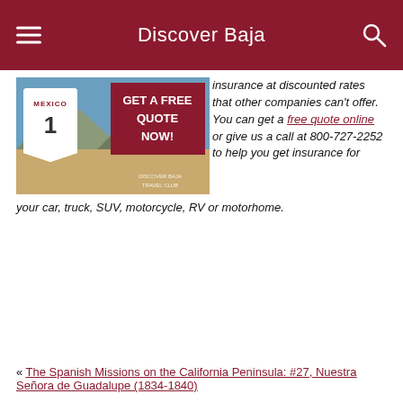Discover Baja
[Figure (photo): Mexico Route 1 highway sign with desert landscape background and 'GET A FREE QUOTE NOW!' overlay text in red]
insurance at discounted rates that other companies can't offer. You can get a free quote online or give us a call at 800-727-2252 to help you get insurance for your car, truck, SUV, motorcycle, RV or motorhome.
« The Spanish Missions on the California Peninsula: #27, Nuestra Señora de Guadalupe (1834-1840)